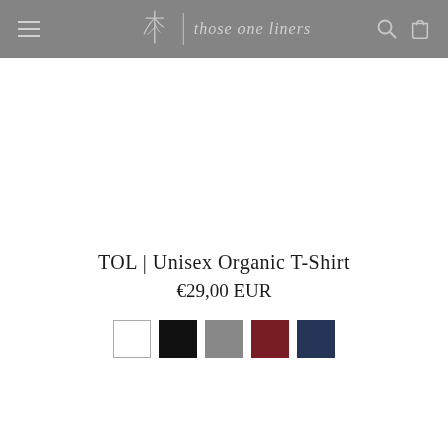those one liners — navigation bar with logo, hamburger menu, search and cart icons
TOL | Unisex Organic T-Shirt
€29,00 EUR
[Figure (other): Five color swatches: white, black, gray, dark red/burgundy, navy blue]